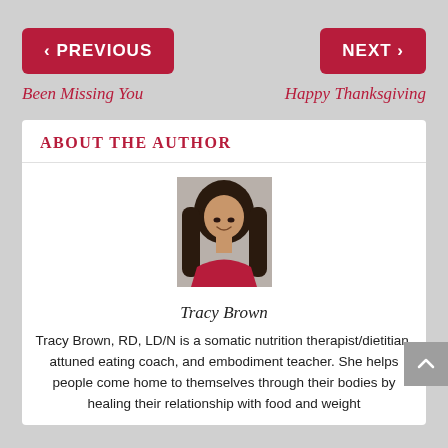< PREVIOUS
NEXT >
Been Missing You
Happy Thanksgiving
ABOUT THE AUTHOR
[Figure (photo): Headshot of Tracy Brown, a woman with long dark hair wearing a red top, photographed against a neutral background.]
Tracy Brown
Tracy Brown, RD, LD/N is a somatic nutrition therapist/dietitian, attuned eating coach, and embodiment teacher. She helps people come home to themselves through their bodies by healing their relationship with food and weight